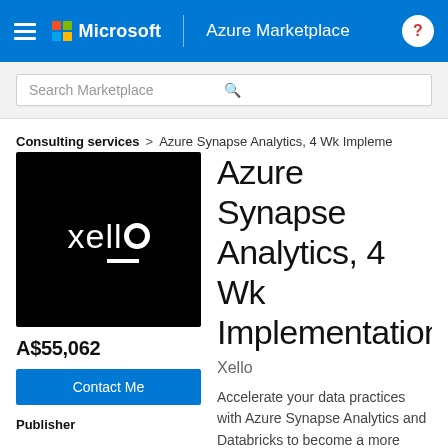Microsoft | Azure Marketplace
Search Marketplace
Consulting services > Azure Synapse Analytics, 4 Wk Impleme
[Figure (logo): Xello logo on black background — white lowercase letters 'xello' with underscore, where the 'o' is rendered as a circle outline]
A$55,062
Contact Me
Publisher
Azure Synapse Analytics, 4 Wk Implementation
Xello
Accelerate your data practices with Azure Synapse Analytics and Databricks to become a more insight-driven